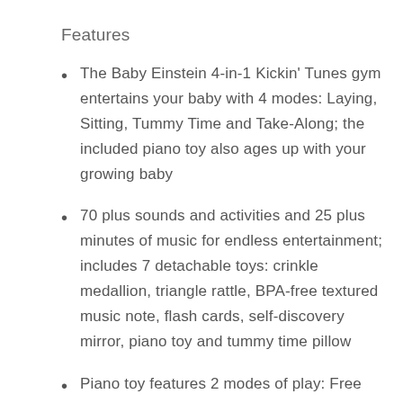Features
The Baby Einstein 4-in-1 Kickin' Tunes gym entertains your baby with 4 modes: Laying, Sitting, Tummy Time and Take-Along; the included piano toy also ages up with your growing baby
70 plus sounds and activities and 25 plus minutes of music for endless entertainment; includes 7 detachable toys: crinkle medallion, triangle rattle, BPA-free textured music note, flash cards, self-discovery mirror, piano toy and tummy time pillow
Piano toy features 2 modes of play: Free Play piano mode and Melody